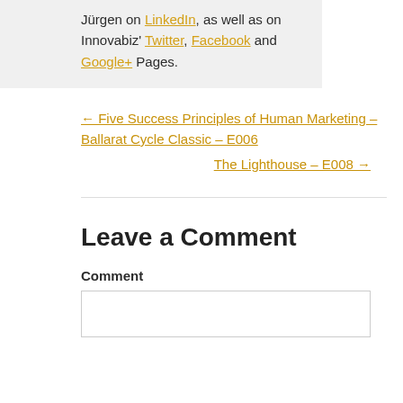Jürgen on LinkedIn, as well as on Innovabiz' Twitter, Facebook and Google+ Pages.
← Five Success Principles of Human Marketing – Ballarat Cycle Classic – E006
The Lighthouse – E008 →
Leave a Comment
Comment